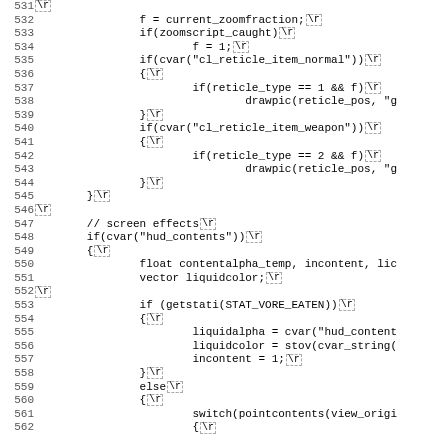[Figure (screenshot): Source code listing showing lines 531-562 of a game HUD/reticle rendering script. Code includes zoom fraction assignment, cvar checks for reticle items, screen effects, hud_contents check, float/vector declarations, STAT_VORE_EATEN condition, liquidalpha/liquidcolor/incontent assignments, else branch with switch(pointcontents(view_origin)).]